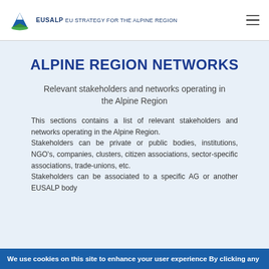EUSALP EU STRATEGY FOR THE ALPINE REGION
ALPINE REGION NETWORKS
Relevant stakeholders and networks operating in the Alpine Region
This sections contains a list of relevant stakeholders and networks operating in the Alpine Region. Stakeholders can be private or public bodies, institutions, NGO's, companies, clusters, citizen associations, sector-specific associations, trade-unions, etc. Stakeholders can be associated to a specific AG or another EUSALP body
We use cookies on this site to enhance your user experience By clicking any